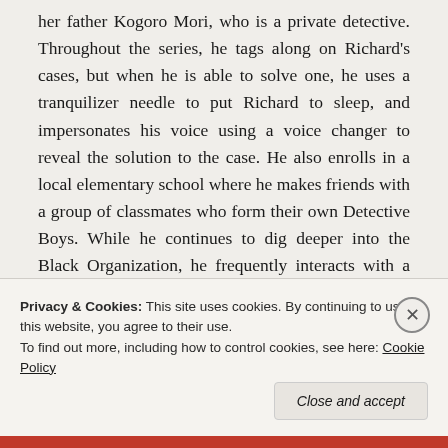her father Kogoro Mori, who is a private detective. Throughout the series, he tags along on Richard's cases, but when he is able to solve one, he uses a tranquilizer needle to put Richard to sleep, and impersonates his voice using a voice changer to reveal the solution to the case. He also enrolls in a local elementary school where he makes friends with a group of classmates who form their own Detective Boys. While he continues to dig deeper into the Black Organization, he frequently interacts with a variety of characters, including his professor friend Dr. Agasa,
Privacy & Cookies: This site uses cookies. By continuing to use this website, you agree to their use.
To find out more, including how to control cookies, see here: Cookie Policy
Close and accept